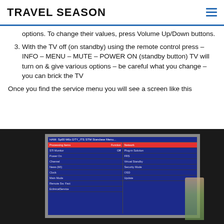TRAVEL SEASON
options. To change their values, press Volume Up/Down buttons.
3. With the TV off (on standby) using the remote control press – INFO – MENU – MUTE – POWER ON (standby button) TV will turn on & give various options – be careful what you change – you can brick the TV
Once you find the service menu you will see a screen like this
[Figure (photo): Photo of a TV screen showing a service menu with blue background, displaying options like Network, Plug-in Solution, FRS, Virtual Standby, Security Mode, OSD, Update on the right panel and STI Monitor, Power On, Channel, News (MI), Clock, Main Mode, Remote Sw. Fact, EclinicalService on the left panel. A person holding a ball is visible in the background on the TV.]